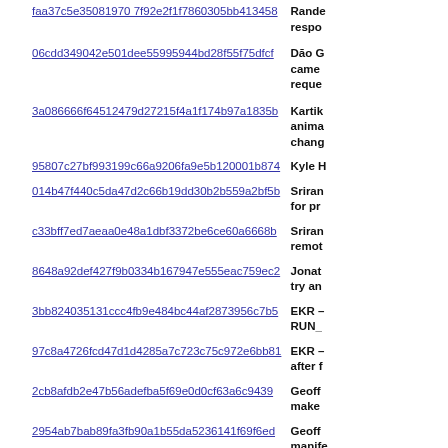| Hash | Description |
| --- | --- |
| faa37c5e35081970 7f92e2f1f7860305bb413458 | Rande response |
| 06cdd349042e501dee55995944bd28f55f75dfcf | Dāo G camer reques |
| 3a086666f64512479d27215f4a1f174b97a1835b | Kartik anima chang |
| 95807c27bf993199c66a9206fa9e5b120001b874 | Kyle H |
| 014b47f440c5da47d2c66b19dd30b2b559a2bf5b | Sriran for pr |
| c33bff7ed7aeaa0e48a1dbf3372be6ce60a6668b | Sriran remot |
| 8648a92def427f9b0334b167947e555eac759ec2 | Jonat try an |
| 3bb824035131ccc4fb9e484bc44af2873956c7b5 | EKR – RUN_ |
| 97c8a4726fcd47d1d4285a7c723c75c972e6bb81 | EKR – after f |
| 2cb8afdb2e47b56adefba5f69e0d0cf63a6c9439 | Geoff make |
| 2954ab7bab89fa3fb90a1b55da5236141f69f6ed | Geoff manife |
| 51e881623846095e671746ef3270e75b63d606f5 | Jonat not ca and dy |
| 5836113e3e87c51e33aaa5bf1a1b7ab9704ac1ad | Mike G Downl |
| 0965d40185d169b0ee5e86f1e42b8c901ba00221 | Gregg |